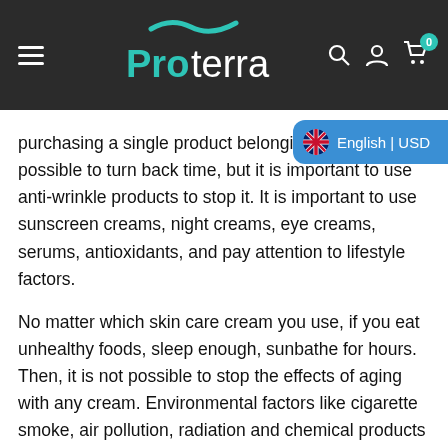[Figure (logo): Proterra brand logo with teal wave above the text on dark background header with hamburger menu, search icon, user icon, and cart icon with badge showing 0]
purchasing a single product belonging to a b... possible to turn back time, but it is important to use anti-wrinkle products to stop it. It is important to use sunscreen creams, night creams, eye creams, serums, antioxidants, and pay attention to lifestyle factors.
No matter which skin care cream you use, if you eat unhealthy foods, sleep enough, sunbathe for hours. Then, it is not possible to stop the effects of aging with any cream. Environmental factors like cigarette smoke, air pollution, radiation and chemical products accelerate aging. Having the best skin care product line for aging is not enough to fight these effects. For this reason, it is necessary to both regulate the lifestyle and use anti-aging and anti-wrinkle products together. Antioxidants help against oxidative damage caused by free radicals. Green tea,